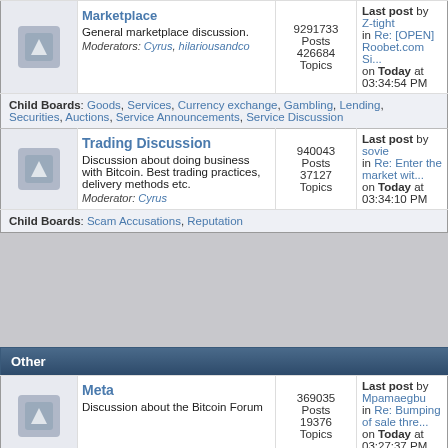| Icon | Board | Stats | Last post |
| --- | --- | --- | --- |
| [icon] | Marketplace
General marketplace discussion.
Moderators: Cyrus, hilariousandco | 9291733 Posts 426684 Topics | Last post by Z-tight in Re: [OPEN] Roobet.com Si... on Today at 03:34:54 PM |
| Child Boards: | Goods, Services, Currency exchange, Gambling, Lending, Securities, Auctions, Service Announcements, Service Discussion |  |  |
| [icon] | Trading Discussion
Discussion about doing business with Bitcoin. Best trading practices, delivery methods etc.
Moderator: Cyrus | 940043 Posts 37127 Topics | Last post by sovie in Re: Enter the market wit... on Today at 03:34:10 PM |
| Child Boards: | Scam Accusations, Reputation |  |  |
Other
| Icon | Board | Stats | Last post |
| --- | --- | --- | --- |
| [icon] | Meta
Discussion about the Bitcoin Forum | 369035 Posts 19376 Topics | Last post by Mpamaegbu in Re: Bumping of sale thre... on Today at 03:27:37 PM |